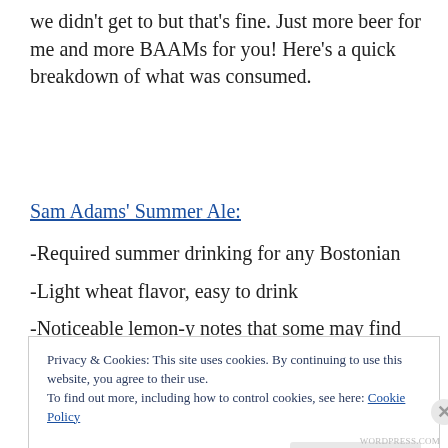we didn't get to but that's fine. Just more beer for me and more BAAMs for you! Here's a quick breakdown of what was consumed.
Sam Adams' Summer Ale:
-Required summer drinking for any Bostonian
-Light wheat flavor, easy to drink
-Noticeable lemon-y notes that some may find
Privacy & Cookies: This site uses cookies. By continuing to use this website, you agree to their use. To find out more, including how to control cookies, see here: Cookie Policy
Close and accept